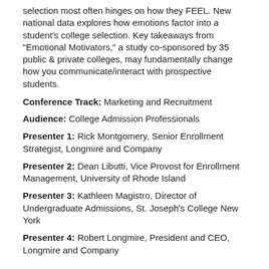selection most often hinges on how they FEEL. New national data explores how emotions factor into a student's college selection. Key takeaways from "Emotional Motivators," a study co-sponsored by 35 public & private colleges, may fundamentally change how you communicate/interact with prospective students.
Conference Track: Marketing and Recruitment
Audience: College Admission Professionals
Presenter 1: Rick Montgomery, Senior Enrollment Strategist, Longmire and Company
Presenter 2: Dean Libutti, Vice Provost for Enrollment Management, University of Rhode Island
Presenter 3: Kathleen Magistro, Director of Undergraduate Admissions, St. Joseph's College New York
Presenter 4: Robert Longmire, President and CEO, Longmire and Company